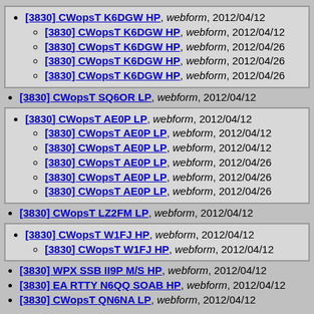[3830] CWopsT K6DGW HP, webform, 2012/04/12
[3830] CWopsT K6DGW HP, webform, 2012/04/12
[3830] CWopsT K6DGW HP, webform, 2012/04/26
[3830] CWopsT K6DGW HP, webform, 2012/04/26
[3830] CWopsT K6DGW HP, webform, 2012/04/26
[3830] CWopsT SQ6OR LP, webform, 2012/04/12
[3830] CWopsT AE0P LP, webform, 2012/04/12
[3830] CWopsT AE0P LP, webform, 2012/04/12
[3830] CWopsT AE0P LP, webform, 2012/04/12
[3830] CWopsT AE0P LP, webform, 2012/04/26
[3830] CWopsT AE0P LP, webform, 2012/04/26
[3830] CWopsT AE0P LP, webform, 2012/04/26
[3830] CWopsT LZ2FM LP, webform, 2012/04/12
[3830] CWopsT W1FJ HP, webform, 2012/04/12
[3830] CWopsT W1FJ HP, webform, 2012/04/12
[3830] WPX SSB II9P M/S HP, webform, 2012/04/12
[3830] EA RTTY N6QQ SOAB HP, webform, 2012/04/12
[3830] CWopsT QN6NA LP, webform, 2012/04/12